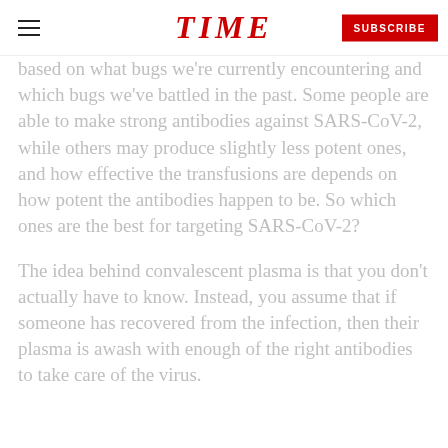TIME | SUBSCRIBE
based on what bugs we're currently encountering and which bugs we've battled in the past. Some people are able to make strong antibodies against SARS-CoV-2, while others may produce slightly less potent ones, and how effective the transfusions are depends on how potent the antibodies happen to be. So which ones are the best for targeting SARS-CoV-2?
The idea behind convalescent plasma is that you don't actually have to know. Instead, you assume that if someone has recovered from the infection, then their plasma is awash with enough of the right antibodies to take care of the virus.